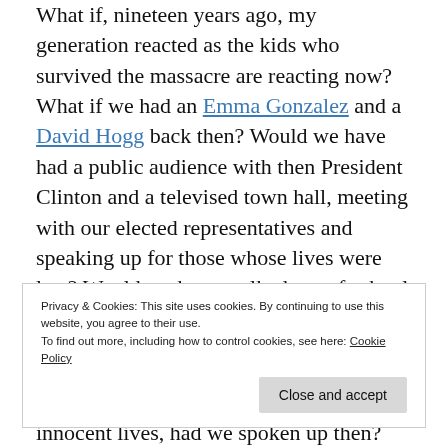What if, nineteen years ago, my generation reacted as the kids who survived the massacre are reacting now? What if we had an Emma Gonzalez and a David Hogg back then? Would we have had a public audience with then President Clinton and a televised town hall, meeting with our elected representatives and speaking up for those whose lives were lost? Would we have walked out of school and marched in solidarity against gun violence? Would we have publicly shamed our elected
Privacy & Cookies: This site uses cookies. By continuing to use this website, you agree to their use.
To find out more, including how to control cookies, see here: Cookie Policy
innocent lives, had we spoken up then?